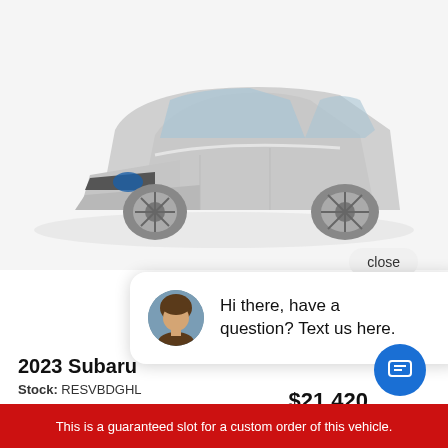[Figure (photo): Silver Subaru Impreza hatchback, 3/4 front view on white background]
close
[Figure (screenshot): Chat widget popup with female agent avatar and text: Hi there, have a question? Text us here.]
2023 Subaru
Stock: RESVBDGHL
MSRP:
$21,420
This is a guaranteed slot for a custom order of this vehicle.